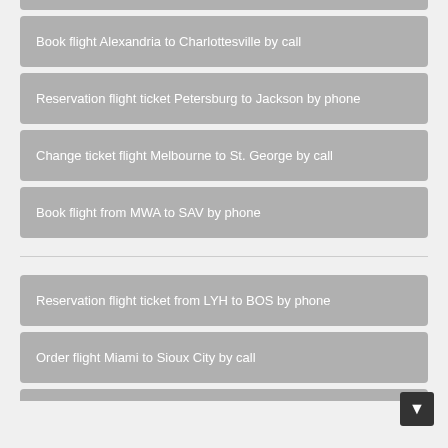Book flight Alexandria to Charlottesville by call
Reservation flight ticket Petersburg to Jackson by phone
Change ticket flight Melbourne to St. George by call
Book flight from MWA to SAV by phone
Reservation flight ticket from LYH to BOS by phone
Order flight Miami to Sioux City by call